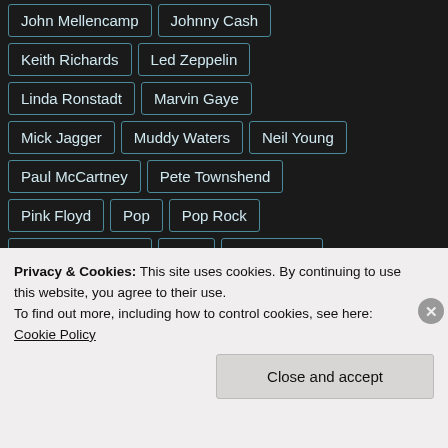John Mellencamp
Johnny Cash
Keith Richards
Led Zeppelin
Linda Ronstadt
Marvin Gaye
Mick Jagger
Muddy Waters
Neil Young
Paul McCartney
Pete Townshend
Pink Floyd
Pop
Pop Rock
Psychedelic Rock
R&B
Ringo Starr
Rock
Rock & Roll
Roots Rock
Privacy & Cookies: This site uses cookies. By continuing to use this website, you agree to their use.
To find out more, including how to control cookies, see here:
Cookie Policy
Close and accept